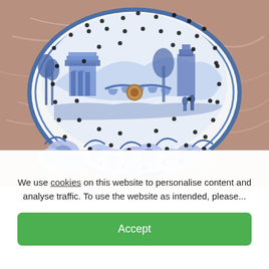[Figure (photo): Blue and white transferware ceramic strainer/drainer plate with scenic pastoral and floral design featuring architecture, trees, and figures, placed on a red/pink marble surface. The oval plate has many drainage holes throughout.]
£135.00
Approx $158.26, €158.08
We use cookies on this website to personalise content and analyse traffic. To use the website as intended, please...
Accept